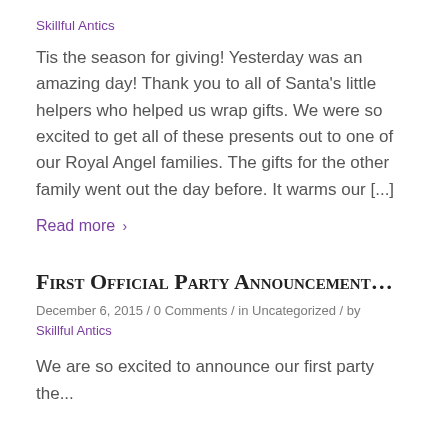Skillful Antics
Tis the season for giving! Yesterday was an amazing day! Thank you to all of Santa's little helpers who helped us wrap gifts. We were so excited to get all of these presents out to one of our Royal Angel families. The gifts for the other family went out the day before. It warms our [...]
Read more >
First Official Party Announcement...
December 6, 2015 / 0 Comments / in Uncategorized / by Skillful Antics
We are so excited to announce our first party the...